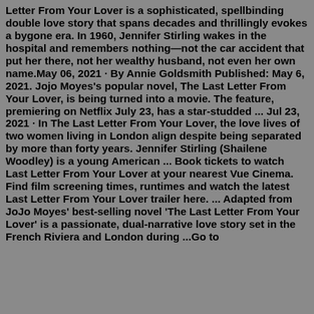Letter From Your Lover is a sophisticated, spellbinding double love story that spans decades and thrillingly evokes a bygone era. In 1960, Jennifer Stirling wakes in the hospital and remembers nothing—not the car accident that put her there, not her wealthy husband, not even her own name.May 06, 2021 · By Annie Goldsmith Published: May 6, 2021. Jojo Moyes's popular novel, The Last Letter From Your Lover, is being turned into a movie. The feature, premiering on Netflix July 23, has a star-studded ... Jul 23, 2021 · In The Last Letter From Your Lover, the love lives of two women living in London align despite being separated by more than forty years. Jennifer Stirling (Shailene Woodley) is a young American ... Book tickets to watch Last Letter From Your Lover at your nearest Vue Cinema. Find film screening times, runtimes and watch the latest Last Letter From Your Lover trailer here. ... Adapted from JoJo Moyes' best-selling novel 'The Last Letter From Your Lover' is a passionate, dual-narrative love story set in the French Riviera and London during ...Go to